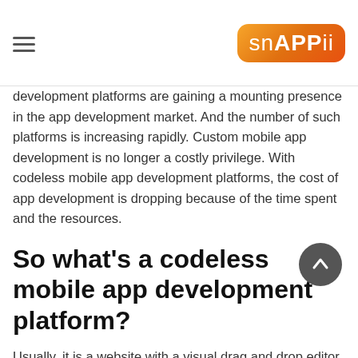snAPPii
development platforms are gaining a mounting presence in the app development market. And the number of such platforms is increasing rapidly. Custom mobile app development is no longer a costly privilege. With codeless mobile app development platforms, the cost of app development is dropping because of the time spent and the resources.
So what’s a codeless mobile app development platform?
Usually, it is a website with a visual drag and drop editor. The users can select a ready-made template for their interest, then set the colors and overall look and feel of the app and fill it with their content. Along with the customizable templates, these platforms allow users to create apps from scratch using a blank canvas. The codeless app development platform offers various tabs and